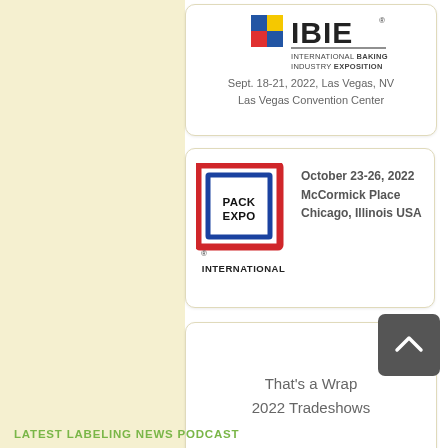[Figure (logo): IBIE International Baking Industry Exposition logo with colored squares (blue, yellow, red) and bold IBIE text]
Sept. 18-21, 2022, Las Vegas, NV
Las Vegas Convention Center
[Figure (logo): PACK EXPO International logo with red and blue rectangular border design around PACK EXPO text]
October 23-26, 2022
McCormick Place
Chicago, Illinois USA
That's a Wrap
2022 Tradeshows
LATEST LABELING NEWS PODCAST